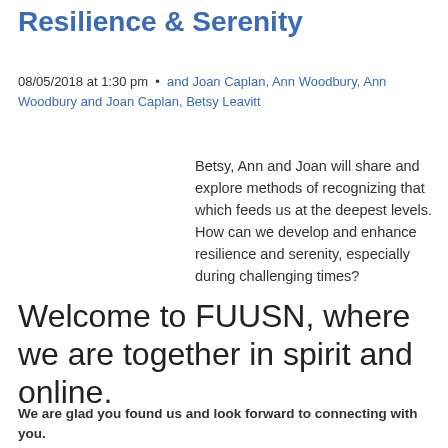Resilience & Serenity
08/05/2018 at 1:30 pm  •  and Joan Caplan, Ann Woodbury, Ann Woodbury and Joan Caplan, Betsy Leavitt
Betsy, Ann and Joan will share and explore methods of recognizing that which feeds us at the deepest levels. How can we develop and enhance resilience and serenity, especially during challenging times?
Welcome to FUUSN, where we are together in spirit and online.
We are glad you found us and look forward to connecting with you.